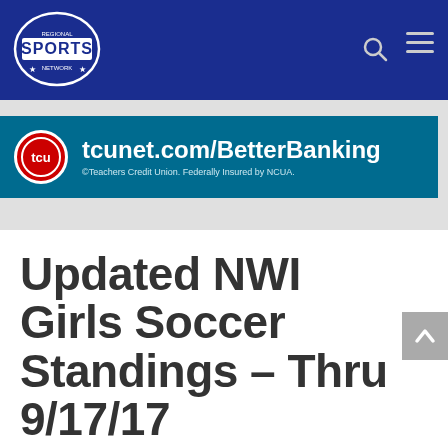Regional Sports Network header with logo, search icon, and hamburger menu
[Figure (logo): Regional Sports Network logo - circular badge with 'SPORTS' text on dark blue background]
[Figure (infographic): TCU advertisement banner: tcunet.com/BetterBanking - Teachers Credit Union. Federally Insured by NCUA.]
Updated NWI Girls Soccer Standings – Thru 9/17/17
by Michael Knezevich | Sep 18, 2017 | Headlines, RRSN